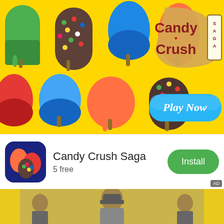[Figure (screenshot): Candy Crush Saga advertisement banner showing colorful candy/popsicle characters on a yellow background with the Candy Crush Saga logo and a blue 'Play Now' button]
[Figure (logo): Candy Crush Saga app icon - rounded square with colorful candy graphics on dark blue background]
Candy Crush Saga
5 free
Install
[Figure (photo): Bottom strip showing partial view of a person and colorful background]